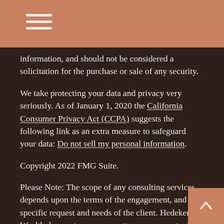information, and should not be considered a solicitation for the purchase or sale of any security.
We take protecting your data and privacy very seriously. As of January 1, 2020 the California Consumer Privacy Act (CCPA) suggests the following link as an extra measure to safeguard your data: Do not sell my personal information.
Copyright 2022 FMG Suite.
Please Note: The scope of any consulting services depends upon the terms of the engagement, and the specific request and needs of the client. Hedeker Wealth does not serve as an attorney, accountant, or insurance agent. Hedeker Wealth does not prepare legal